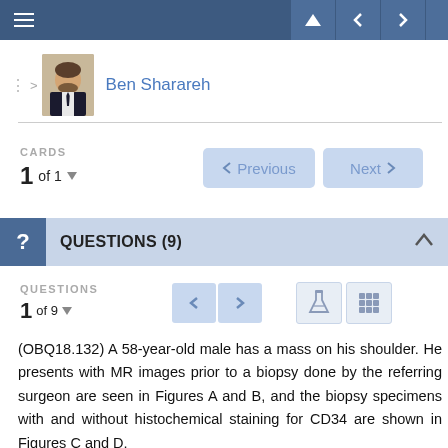Navigation bar with menu, previous, next controls
Ben Sharareh
CARDS
1 of 1
QUESTIONS (9)
QUESTIONS
1 of 9
(OBQ18.132) A 58-year-old male has a mass on his shoulder. He presents with MR images prior to a biopsy done by the referring surgeon are seen in Figures A and B, and the biopsy specimens with and without histochemical staining for CD34 are shown in Figures C and D,